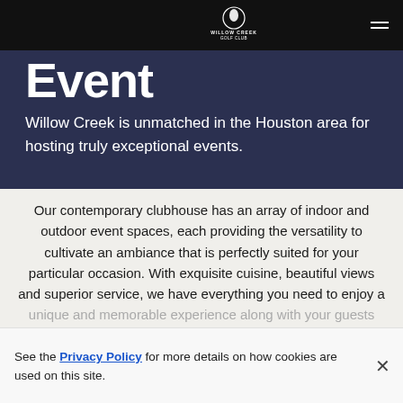Willow Creek Golf Club
Event
Willow Creek is unmatched in the Houston area for hosting truly exceptional events.
Our contemporary clubhouse has an array of indoor and outdoor event spaces, each providing the versatility to cultivate an ambiance that is perfectly suited for your particular occasion. With exquisite cuisine, beautiful views and superior service, we have everything you need to enjoy a unique and memorable experience along with your guests
See the Privacy Policy for more details on how cookies are used on this site.
Contact Our Private Events Director